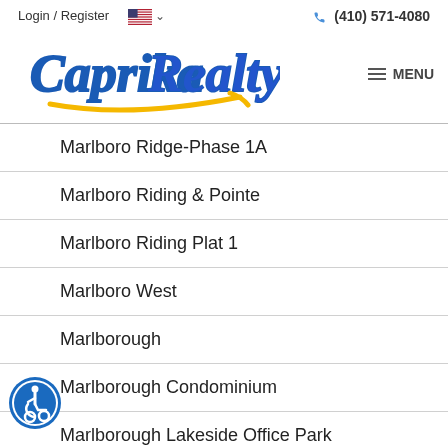Login / Register   (410) 571-4080
[Figure (logo): Caprika Realty logo with blue script text and yellow swoosh accent]
Marlboro Ridge-Phase 1A
Marlboro Riding & Pointe
Marlboro Riding Plat 1
Marlboro West
Marlborough
Marlborough Condominium
Marlborough Lakeside Office Park